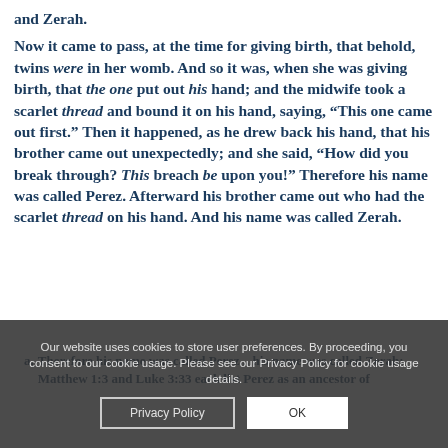and Zerah.
Now it came to pass, at the time for giving birth, that behold, twins were in her womb. And so it was, when she was giving birth, that the one put out his hand; and the midwife took a scarlet thread and bound it on his hand, saying, “This one came out first.” Then it happened, as he drew back his hand, that his brother came out unexpectedly; and she said, “How did you break through? This breach be upon you!” Therefore his name was called Perez. Afterward his brother came out who had the scarlet thread on his hand. And his name was called Zerah.
a. Therefore his name was called Perez... his name was called Zerah: Matthew 1:3 and Luke 3:33 each list Perez as an ancestor of
Our website uses cookies to store user preferences. By proceeding, you consent to our cookie usage. Please see our Privacy Policy for cookie usage details.